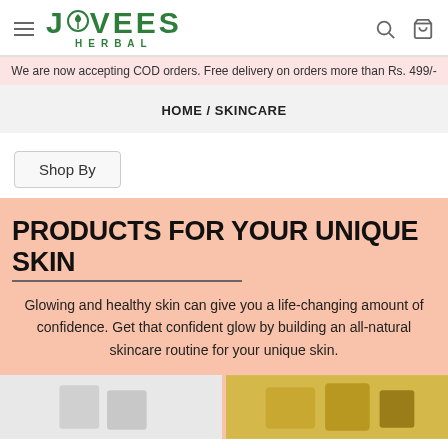JOVEES HERBAL
We are now accepting COD orders. Free delivery on orders more than Rs. 499/-
HOME / SKINCARE
Shop By
PRODUCTS FOR YOUR UNIQUE SKIN
Glowing and healthy skin can give you a life-changing amount of confidence. Get that confident glow by building an all-natural skincare routine for your unique skin.
[Figure (photo): Two product thumbnail images side by side at the bottom of the page]